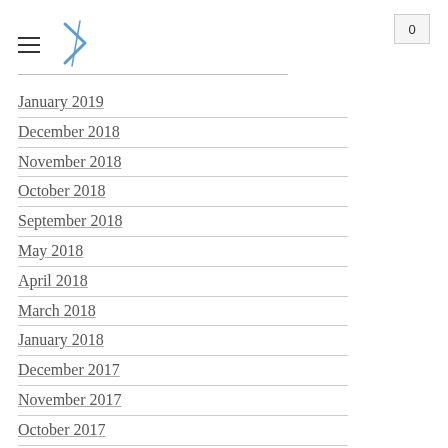[Figure (logo): Navigation header with hamburger menu icon and stylized arrow/chevron logo in blue]
0
January 2019
December 2018
November 2018
October 2018
September 2018
May 2018
April 2018
March 2018
January 2018
December 2017
November 2017
October 2017
September 2017
May 2017
April 2017
March 2017
February 2017